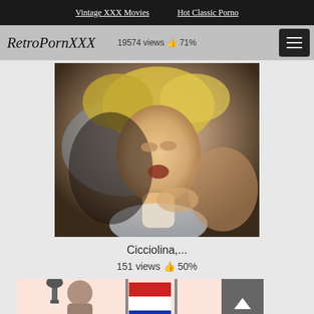Vintage XXX Movies   Hot Classic Porno
RetroPornXXX   19574 views  71%
[Figure (photo): Video thumbnail showing a blonde woman lying down, vintage/retro style photo]
Cicciolina,...
151 views  50%
[Figure (photo): Second video thumbnail showing a figure with flags in background, partially visible]